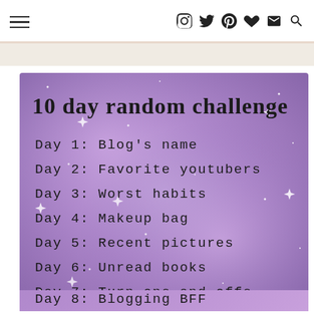Navigation header with hamburger menu and social icons
[Figure (infographic): Purple galaxy/starry background image with handwritten-style text listing '10 day random challenge': Day 1: Blog's name, Day 2: Favorite youtubers, Day 3: Worst habits, Day 4: Makeup bag, Day 5: Recent pictures, Day 6: Unread books, Day 7: Turn ons and offs, Day 8: Blogging BFF]